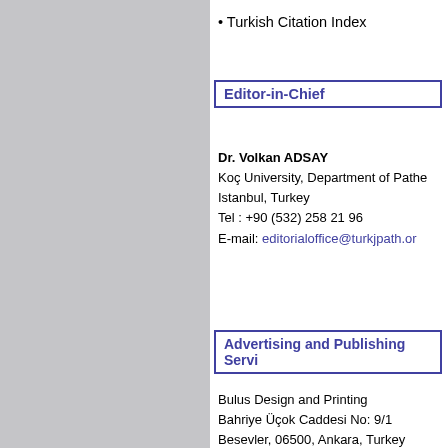• Turkish Citation Index
Editor-in-Chief
Dr. Volkan ADSAY
Koç University, Department of Patho
Istanbul, Turkey
Tel : +90 (532) 258 21 96
E-mail: editorialoffice@turkjpath.or
Advertising and Publishing Servi
Bulus Design and Printing
Bahriye Üçok Caddesi No: 9/1
Besevler, 06500, Ankara, Turkey
Tel : +90 (312) 223 55 44; +90 (312) 22
Fax: +90 (312) 222 44 07
E-mail: can@bulustasarim.com.tr